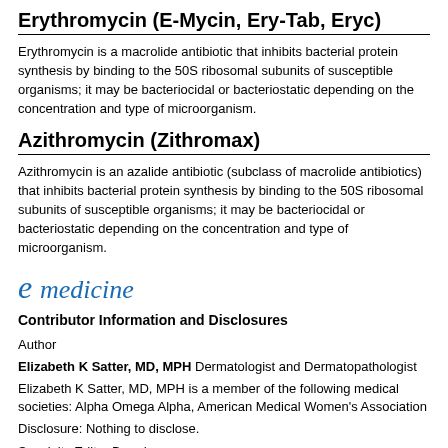Erythromycin (E-Mycin, Ery-Tab, Eryc)
Erythromycin is a macrolide antibiotic that inhibits bacterial protein synthesis by binding to the 50S ribosomal subunits of susceptible organisms; it may be bacteriocidal or bacteriostatic depending on the concentration and type of microorganism.
Azithromycin (Zithromax)
Azithromycin is an azalide antibiotic (subclass of macrolide antibiotics) that inhibits bacterial protein synthesis by binding to the 50S ribosomal subunits of susceptible organisms; it may be bacteriocidal or bacteriostatic depending on the concentration and type of microorganism.
[Figure (logo): eMedicine logo with stylized italic 'e' in blue followed by 'medicine' in blue italic text]
Contributor Information and Disclosures
Author
Elizabeth K Satter, MD, MPH Dermatologist and Dermatopathologist
Elizabeth K Satter, MD, MPH is a member of the following medical societies: Alpha Omega Alpha, American Medical Women's Association
Disclosure: Nothing to disclose.
Specialty Editor Board
Richard P Vinson, MD Assistant Clinical Professor, Department of